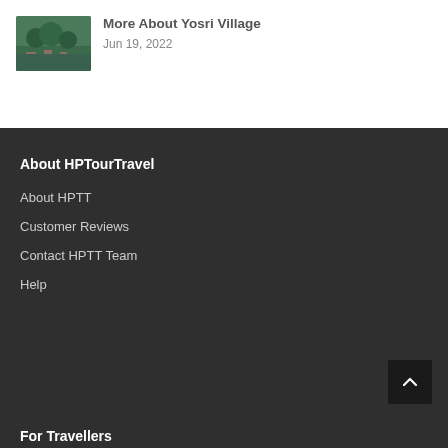[Figure (photo): Thumbnail image of a tropical village with trees and buildings viewed from above]
More About Yosri Village
Jun 19, 2022
About HPTourTravel
About HPTT
Customer Reviews
Contact HPTT Team
Help
For Travellers